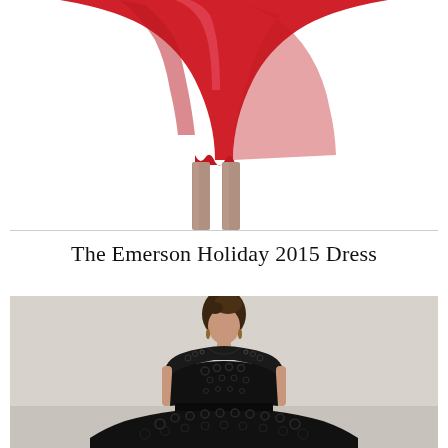[Figure (photo): Bottom portion of a red flared/skater dress worn by a model, showing the hemline and legs in sheer stockings against a white background]
The Emerson Holiday 2015 Dress
[Figure (photo): A woman wearing a black lace cap-sleeve cocktail dress with a fitted bodice and full skirt, standing against a light gray background. The dress features intricate floral lace pattern throughout.]